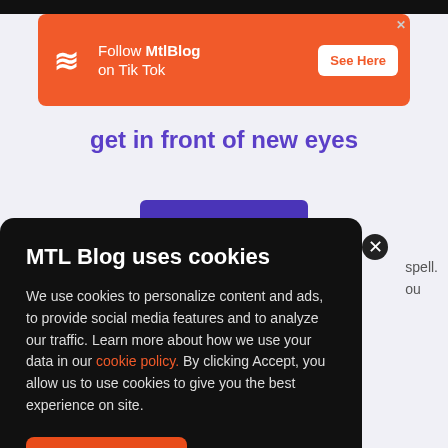[Figure (screenshot): Orange advertisement banner for MtlBlog TikTok with logo, Follow MtlBlog on Tik Tok text, and See Here button]
get in front of new eyes
MTL Blog uses cookies
We use cookies to personalize content and ads, to provide social media features and to analyze our traffic. Learn more about how we use your data in our cookie policy. By clicking Accept, you allow us to use cookies to give you the best experience on site.
Accept